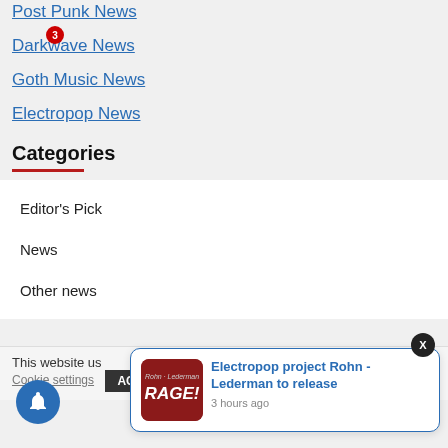Post Punk News
Darkwave News
Goth Music News
Electropop News
Categories
Editor's Pick
News
Other news
This website us... assume you're...
Cookie settings   ACCEPT
[Figure (screenshot): Notification popup showing 'Electropop project Rohn - Lederman to release' with a red RAGE! album cover thumbnail, time '3 hours ago', and a blue bell icon with badge showing 3. Close button X in top right.]